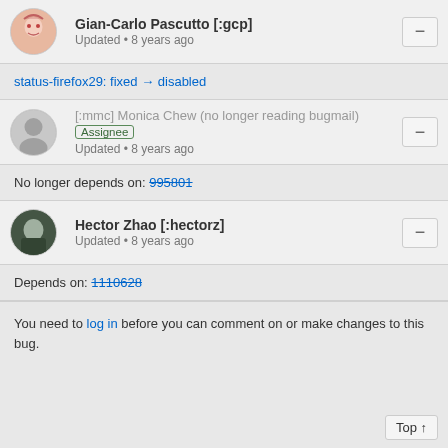Gian-Carlo Pascutto [:gcp] — Updated • 8 years ago
status-firefox29: fixed → disabled
[:mmc] Monica Chew (no longer reading bugmail) — Assignee — Updated • 8 years ago
No longer depends on: 995801
Hector Zhao [:hectorz] — Updated • 8 years ago
Depends on: 1110628
You need to log in before you can comment on or make changes to this bug.